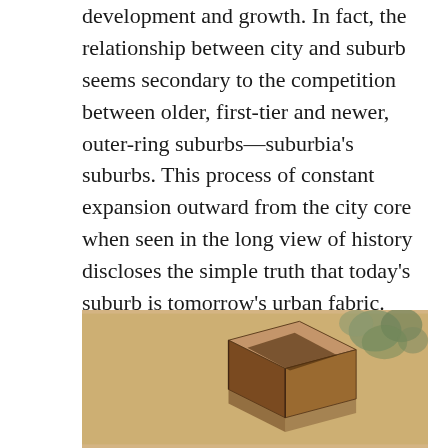development and growth. In fact, the relationship between city and suburb seems secondary to the competition between older, first-tier and newer, outer-ring suburbs—suburbia's suburbs. This process of constant expansion outward from the city core when seen in the long view of history discloses the simple truth that today's suburb is tomorrow's urban fabric. Each successive layer adds another facet to suburban history and American mythology, as David Brooks argues in his essay, “Our Sprawling, Supersize Utopia.”
[Figure (illustration): A painting or artwork showing a geometric architectural structure or box-like form with dark brown and black tones, set against a warm beige/tan background, with soft rounded green foliage elements visible in the upper right.]